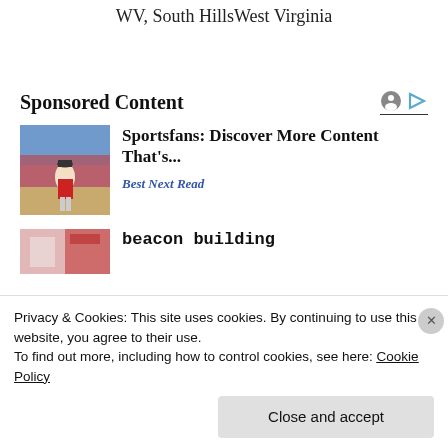WV, South HillsWest Virginia
Sponsored Content
[Figure (photo): Baseball player running on field with crowd in background]
Sportsfans: Discover More Content That's...
Best Next Read
[Figure (photo): Partially visible image with pink/red tones]
beacon building
Privacy & Cookies: This site uses cookies. By continuing to use this website, you agree to their use.
To find out more, including how to control cookies, see here: Cookie Policy
Close and accept